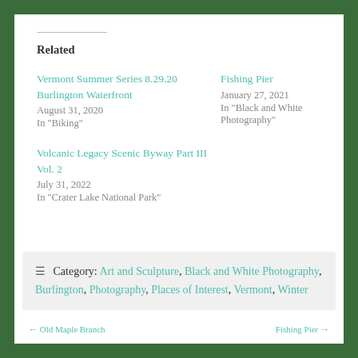Related
Vermont Summer Series 8.29.20 Burlington Waterfront
August 31, 2020
In "Biking"
Fishing Pier
January 27, 2021
In "Black and White Photography"
Volcanic Legacy Scenic Byway Part III Vol. 2
July 31, 2022
In "Crater Lake National Park"
Category: Art and Sculpture, Black and White Photography, Burlington, Photography, Places of Interest, Vermont, Winter
← Old Maple Branch    Fishing Pier →